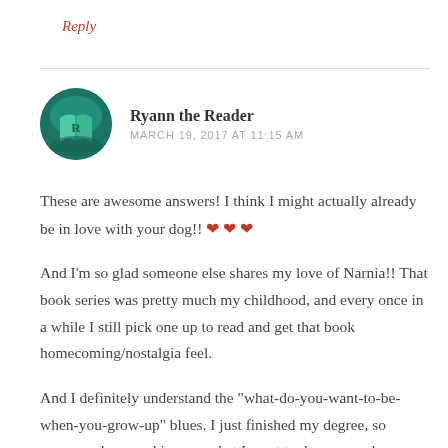Reply
[Figure (illustration): Circular avatar with teal/dark teal background and an open green book icon with the letter R on it]
Ryann the Reader
MARCH 19, 2017 AT 11:15 AM
These are awesome answers! I think I might actually already be in love with your dog!! ❤ ❤ ❤
And I'm so glad someone else shares my love of Narnia!! That book series was pretty much my childhood, and every once in a while I still pick one up to read and get that book homecoming/nostalgia feel.
And I definitely understand the "what-do-you-want-to-be-when-you-grow-up" blues. I just finished my degree, so everyone keeps asking me what I want to do now, and